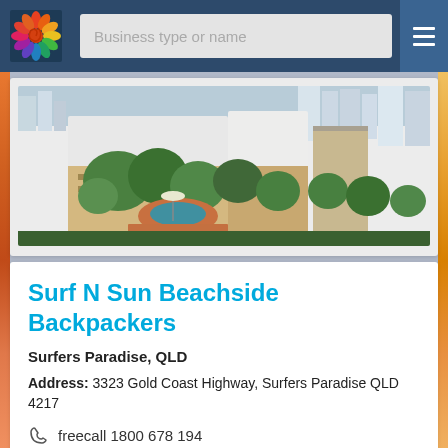Business type or name
[Figure (photo): Aerial view of Surf N Sun Beachside Backpackers property showing tropical gardens, pool area, orange/terracotta paving, palm trees, and surrounding high-rise buildings and city skyline]
Surf N Sun Beachside Backpackers
Surfers Paradise, QLD
Address: 3323 Gold Coast Highway, Surfers Paradise QLD 4217
freecall 1800 678 194
Email